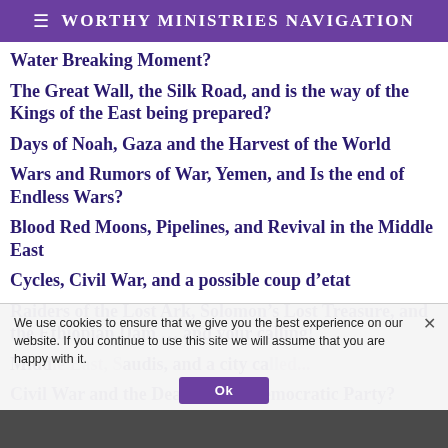≡ Worthy Ministries Navigation
Water Breaking Moment?
The Great Wall, the Silk Road, and is the way of the Kings of the East being prepared?
Days of Noah, Gaza and the Harvest of the World
Wars and Rumors of War, Yemen, and Is the end of Endless Wars?
Blood Red Moons, Pipelines, and Revival in the Middle East
Cycles, Civil War, and a possible coup d’etat
Raiders of the Lost Ark, Solomon’s Lost Treasure, and the Ethiopian Dam … and your calling!
Middle East, Saudis, and a city called...
Civil War and the Death of the Democratic Party?
We use cookies to ensure that we give you the best experience on our website. If you continue to use this site we will assume that you are happy with it.